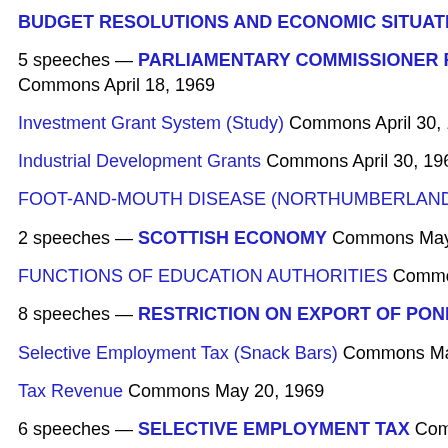BUDGET RESOLUTIONS AND ECONOMIC SITUATION Com…
5 speeches — PARLIAMENTARY COMMISSIONER FOR LO… Commons April 18, 1969
Investment Grant System (Study) Commons April 30, 1969
Industrial Development Grants Commons April 30, 1969
FOOT-AND-MOUTH DISEASE (NORTHUMBERLAND REPO…
2 speeches — SCOTTISH ECONOMY Commons May 1, 1969…
FUNCTIONS OF EDUCATION AUTHORITIES Commons May…
8 speeches — RESTRICTION ON EXPORT OF PONIES. Com…
Selective Employment Tax (Snack Bars) Commons May 20, 19…
Tax Revenue Commons May 20, 1969
6 speeches — SELECTIVE EMPLOYMENT TAX Commons M…